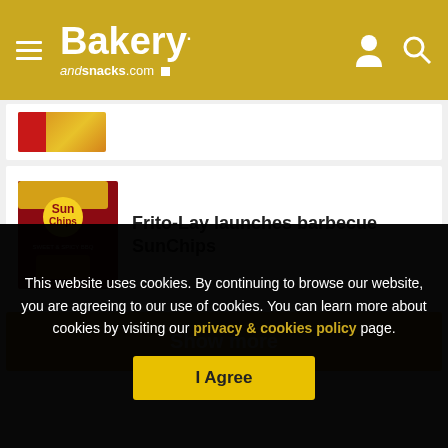Bakery andsnacks.com
[Figure (photo): Partially visible article card with a product image (yellow/red packaging) cropped at top]
Frito-Lay launches barbecue SunChips
Show more
This website uses cookies. By continuing to browse our website, you are agreeing to our use of cookies. You can learn more about cookies by visiting our privacy & cookies policy page.
I Agree